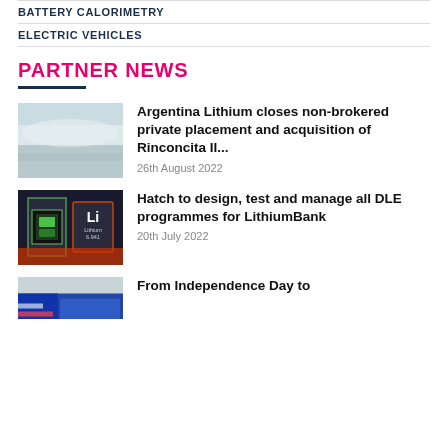BATTERY CALORIMETRY
ELECTRIC VEHICLES
PARTNER NEWS
[Figure (photo): Landscape photo of a pale snowy or salt flat terrain with hazy sky]
Argentina Lithium closes non-brokered private placement and acquisition of Rinconcita II...
26th August 2022
[Figure (photo): Illustration of Lithium element tile from periodic table with circuit/tech background]
Hatch to design, test and manage all DLE programmes for LithiumBank
20th July 2022
[Figure (photo): Partial photo visible at bottom — appears to be blue toned image]
From Independence Day to